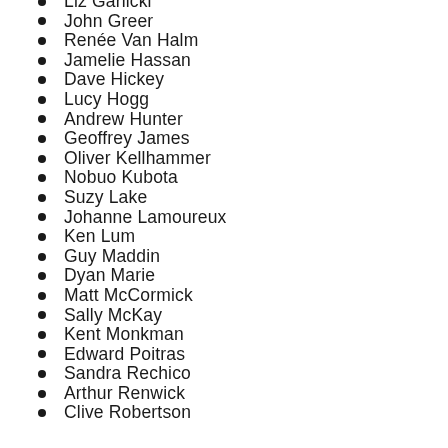Liz Garlicki
John Greer
Renée Van Halm
Jamelie Hassan
Dave Hickey
Lucy Hogg
Andrew Hunter
Geoffrey James
Oliver Kellhammer
Nobuo Kubota
Suzy Lake
Johanne Lamoureux
Ken Lum
Guy Maddin
Dyan Marie
Matt McCormick
Sally McKay
Kent Monkman
Edward Poitras
Sandra Rechico
Arthur Renwick
Clive Robertson